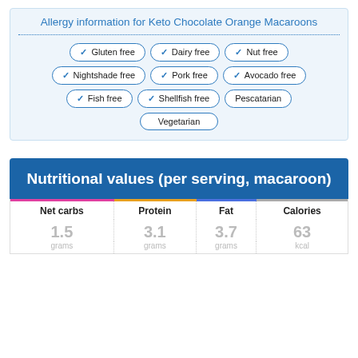Allergy information for Keto Chocolate Orange Macaroons
✓ Gluten free
✓ Dairy free
✓ Nut free
✓ Nightshade free
✓ Pork free
✓ Avocado free
✓ Fish free
✓ Shellfish free
Pescatarian
Vegetarian
Nutritional values (per serving, macaroon)
| Net carbs | Protein | Fat | Calories |
| --- | --- | --- | --- |
| 1.5 | 3.1 | 3.7 | 63 |
| grams | grams | grams | kcal |